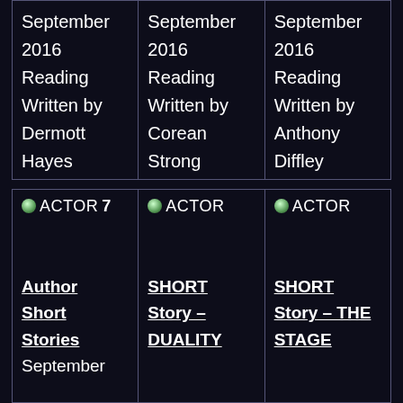September 2016 Reading Written by Dermott Hayes
September 2016 Reading Written by Corean Strong
September 2016 Reading Written by Anthony Diffley
[Figure (other): ACTOR icon with number 7]
Author Short Stories September
[Figure (other): ACTOR icon]
SHORT Story – DUALITY
[Figure (other): ACTOR icon]
SHORT Story – THE STAGE